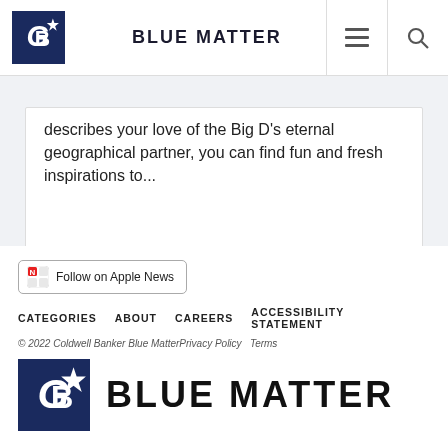BLUE MATTER
describes your love of the Big D's eternal geographical partner, you can find fun and fresh inspirations to...
TIFFANY ALLER    JUL 27, 2015
[Figure (logo): Follow on Apple News button]
CATEGORIES   ABOUT   CAREERS   ACCESSIBILITY STATEMENT
© 2022 Coldwell Banker Blue MatterPrivacy Policy   Terms
[Figure (logo): Coldwell Banker Blue Matter logo with large BLUE MATTER text]